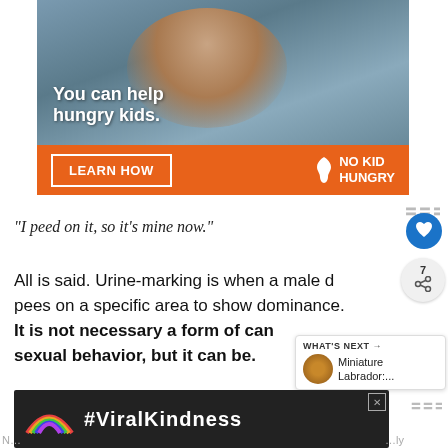[Figure (photo): No Kid Hungry advertisement banner with photo of a young boy eating, orange bar with LEARN HOW button and No Kid Hungry logo]
“I peed on it, so it’s mine now.”
All is said. Urine-marking is when a male dog pees on a specific area to show dominance. It is not necessary a form of canine sexual behavior, but it can be.
[Figure (photo): #ViralKindness advertisement banner with rainbow on dark background]